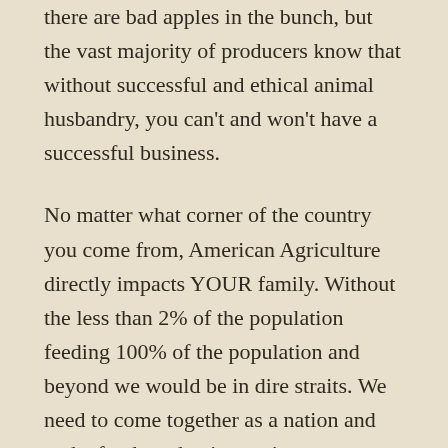there are bad apples in the bunch, but the vast majority of producers know that without successful and ethical animal husbandry, you can't and won't have a successful business.
No matter what corner of the country you come from, American Agriculture directly impacts YOUR family. Without the less than 2% of the population feeding 100% of the population and beyond we would be in dire straits. We need to come together as a nation and make food production easier, not more difficult. Through legislation and public knowledge, I believe that we can give ranchers and farmers more power to produce the highest quality nutrition in the world. With many Americans, especially those with a public platform, not knowing profound hunger, it is easy to be over-critical of the people putting food on your table. Frankly, they are